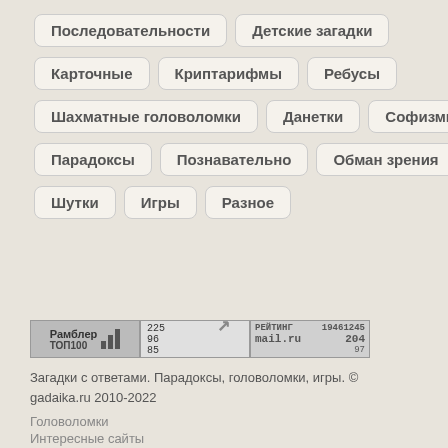Последовательности
Детские загадки
Карточные
Криптарифмы
Ребусы
Шахматные головоломки
Данетки
Софизмы
Парадоксы
Познавательно
Обман зрения
Шутки
Игры
Разное
[Figure (other): Рамблер ТОП100 banner with bar chart icon]
[Figure (other): Statistics banner showing numbers 225, 96, 85 with arrow]
[Figure (other): Mail.ru rating banner showing РЕЙТИНГ 19461245, mail.ru, 204, 97]
Загадки с ответами. Парадоксы, головоломки, игры. © gadaika.ru 2010-2022
Головоломки
Интересные сайты